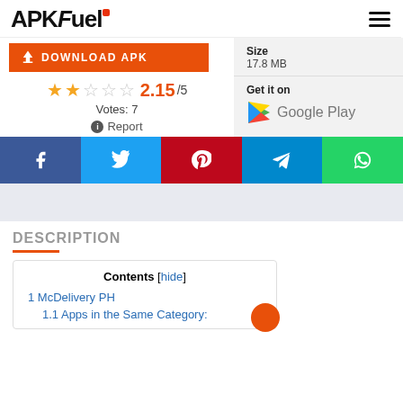APKFuel
[Figure (screenshot): APKFuel website screenshot showing download button, star rating 2.15/5 with 7 votes, size 17.8 MB, Get it on Google Play, social share buttons, description section, and contents box]
DOWNLOAD APK
2.15/5
Votes: 7
Report
Size
17.8 MB
Get it on
Google Play
DESCRIPTION
Contents [hide]
1 McDelivery PH
1.1 Apps in the Same Category: